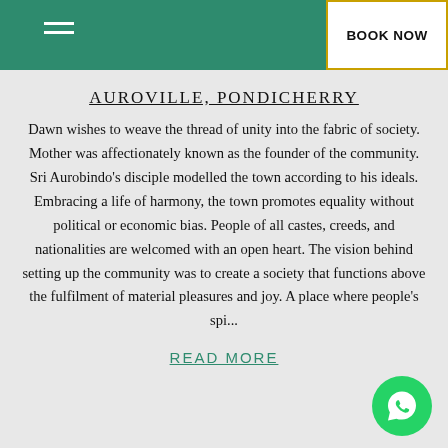BOOK NOW
AUROVILLE, PONDICHERRY
Dawn wishes to weave the thread of unity into the fabric of society. Mother was affectionately known as the founder of the community. Sri Aurobindo's disciple modelled the town according to his ideals. Embracing a life of harmony, the town promotes equality without political or economic bias. People of all castes, creeds, and nationalities are welcomed with an open heart. The vision behind setting up the community was to create a society that functions above the fulfilment of material pleasures and joy. A place where people's spi...
READ MORE